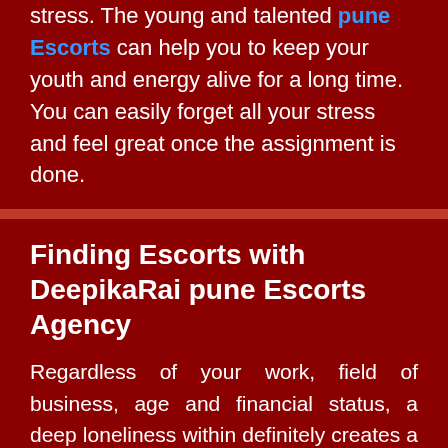stress. The young and talented pune Escorts can help you to keep your youth and energy alive for a long time. You can easily forget all your stress and feel great once the assignment is done.
Finding Escorts with DeepikaRai pune Escorts Agency
Regardless of your work, field of business, age and financial status, a deep loneliness within definitely creates a deep thirst for a erotic partner to enjoy hot sex ad sensual massage. In such cases, if the environment you're in doesn't seem promising in the search for a pune escort, your thirst will definitely land you on the internet. Fortunately, there thousands of singles out there lined up on